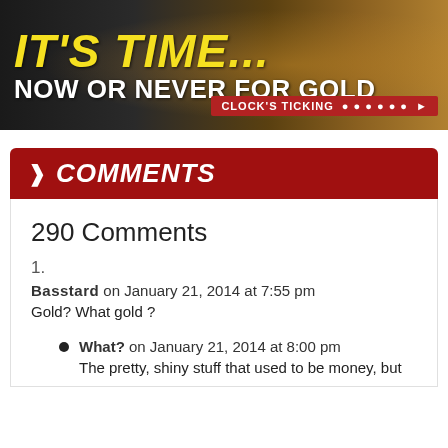[Figure (illustration): Banner advertisement with dark background and gold/fire imagery, text reads IT'S TIME... NOW OR NEVER FOR GOLD with CLOCK'S TICKING button]
> COMMENTS
290 Comments
1.
Basstard on January 21, 2014 at 7:55 pm
Gold? What gold ?
What? on January 21, 2014 at 8:00 pm
The pretty, shiny stuff that used to be money, but